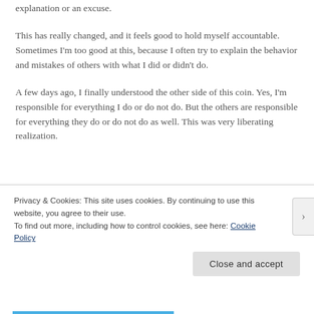explanation or an excuse.
This has really changed, and it feels good to hold myself accountable. Sometimes I'm too good at this, because I often try to explain the behavior and mistakes of others with what I did or didn't do.
A few days ago, I finally understood the other side of this coin. Yes, I'm responsible for everything I do or do not do. But the others are responsible for everything they do or do not do as well. This was very liberating realization.
Privacy & Cookies: This site uses cookies. By continuing to use this website, you agree to their use.
To find out more, including how to control cookies, see here: Cookie Policy
Close and accept